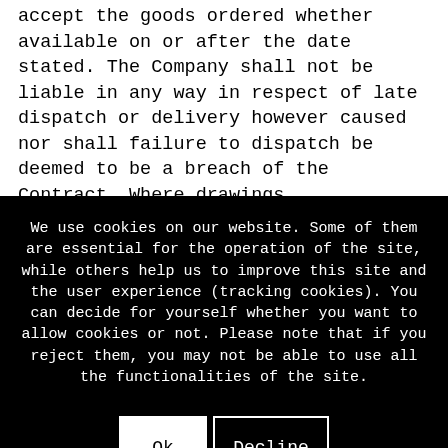accept the goods ordered whether available on or after the date stated. The Company shall not be liable in any way in respect of late dispatch or delivery however caused nor shall failure to dispatch be deemed to be a breach of the Contract. Where drawings, specifications, instructions and materials are to be supplied by the Buyer, the Buyer shall supply the same in reasonable
We use cookies on our website. Some of them are essential for the operation of the site, while others help us to improve this site and the user experience (tracking cookies). You can decide for yourself whether you want to allow cookies or not. Please note that if you reject them, you may not be able to use all the functionalities of the site.
Ok
Decline
More information